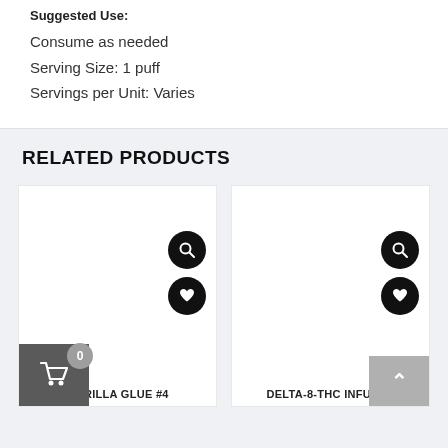Suggested Use:
Consume as needed
Serving Size: 1 puff
Servings per Unit: Varies
RELATED PRODUCTS
[Figure (screenshot): Product card for GORILLA GLUE #4 with search and wishlist icon buttons]
GORILLA GLUE #4
[Figure (screenshot): Product card for Delta-8-THC Infused with search and wishlist icon buttons]
Delta-8-THC Infused